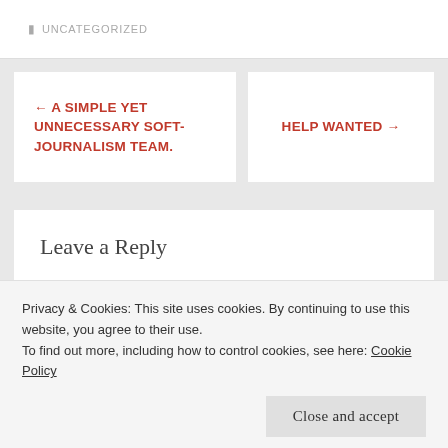UNCATEGORIZED
← A SIMPLE YET UNNECESSARY SOFT-JOURNALISM TEAM.
HELP WANTED →
Leave a Reply
Your email address will not be published. Required fields are marked *
Comment *
Privacy & Cookies: This site uses cookies. By continuing to use this website, you agree to their use.
To find out more, including how to control cookies, see here: Cookie Policy
Close and accept